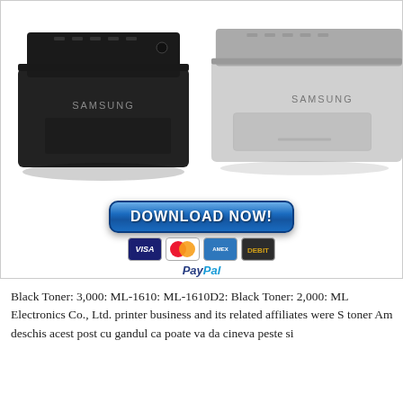[Figure (photo): Two Samsung laser printers side by side — one black (left) and one light gray (right) — with a 'DOWNLOAD NOW!' button below them and payment method icons (VISA, MasterCard, Amex, another card) and PayPal logo underneath.]
Black Toner: 3,000: ML-1610: ML-1610D2: Black Toner: 2,000: ML Electronics Co., Ltd. printer business and its related affiliates were S toner Am deschis acest post cu gandul ca poate va da cineva peste si